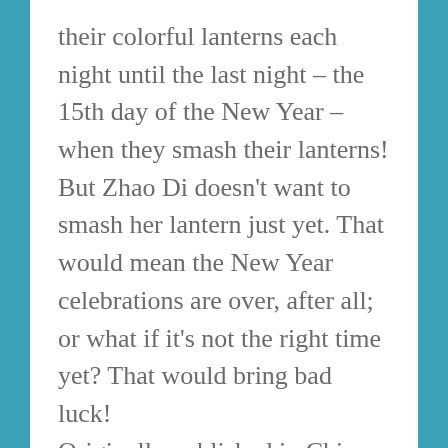their colorful lanterns each night until the last night – the 15th day of the New Year – when they smash their lanterns! But Zhao Di doesn't want to smash her lantern just yet. That would mean the New Year celebrations are over, after all; or what if it's not the right time yet? That would bring bad luck!

Originally published in China, Playing